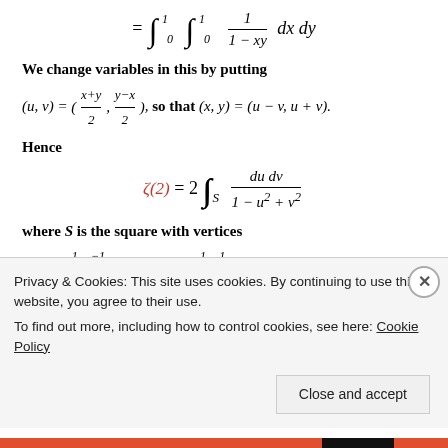We change variables in this by putting
Hence
where S is the square with vertices
Privacy & Cookies: This site uses cookies. By continuing to use this website, you agree to their use. To find out more, including how to control cookies, see here: Cookie Policy